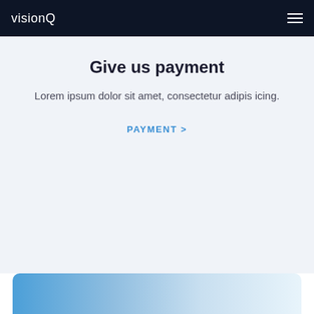visionQ
Give us payment
Lorem ipsum dolor sit amet, consectetur adipis icing.
PAYMENT >
[Figure (illustration): Blue gradient decorative bar at the bottom of the page, fading from blue on the left to light blue/white on the right, with rounded top corners.]